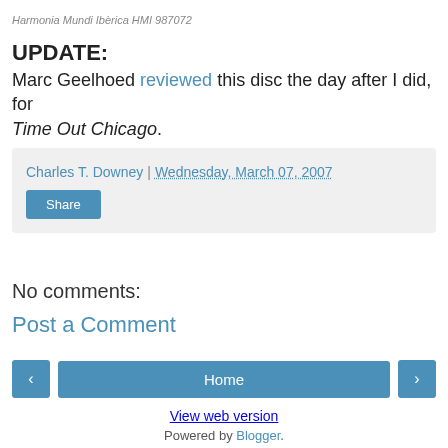Harmonia Mundi Ibèrica HMI 987072
UPDATE:
Marc Geelhoed reviewed this disc the day after I did, for Time Out Chicago.
Charles T. Downey | Wednesday, March 07, 2007
No comments:
Post a Comment
Home
View web version
Powered by Blogger.